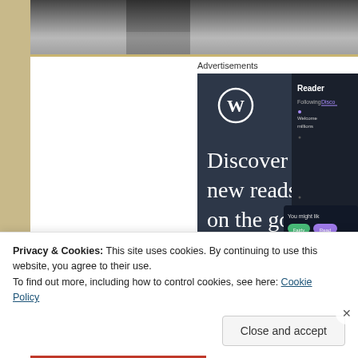[Figure (photo): Black and white photo strip at the top of the page, showing a partial view of a person or scene]
Advertisements
[Figure (screenshot): WordPress advertisement: dark background with WordPress logo (W in circle), large white serif text reading 'Discover new reads on the go.' with a phone UI mockup on the right showing the Reader app interface with 'You might like' popup and green/purple buttons]
Privacy & Cookies: This site uses cookies. By continuing to use this website, you agree to their use.
To find out more, including how to control cookies, see here: Cookie Policy
Close and accept